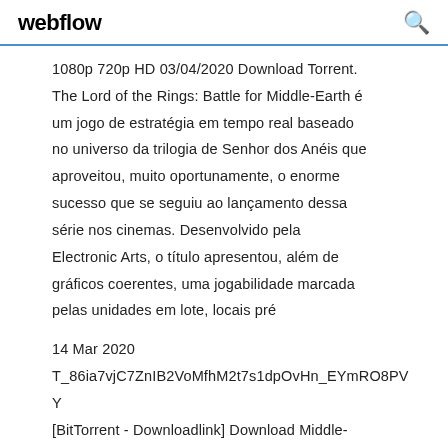webflow
1080p 720p HD 03/04/2020 Download Torrent. The Lord of the Rings: Battle for Middle-Earth é um jogo de estratégia em tempo real baseado no universo da trilogia de Senhor dos Anéis que aproveitou, muito oportunamente, o enorme sucesso que se seguiu ao lançamento dessa série nos cinemas. Desenvolvido pela Electronic Arts, o título apresentou, além de gráficos coerentes, uma jogabilidade marcada pelas unidades em lote, locais pré
14 Mar 2020
T_86ia7vjC7ZnIB2VoMfhM2t7s1dpOvHn_EYmRO8PVY
[BitTorrent - Downloadlink] Download Middle-